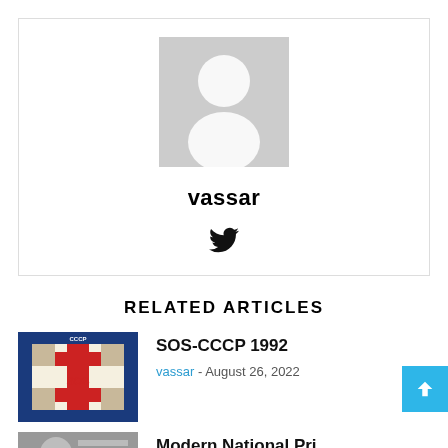[Figure (illustration): Generic user avatar placeholder — grey rectangle with white silhouette of a person]
vassar
[Figure (illustration): Twitter bird icon]
RELATED ARTICLES
[Figure (photo): Photo of a SOS-CCCP 1992 pin badge — red and white checkered pattern with red cross and SOS lettering, blue border with CCCP text]
SOS-CCCP 1992
vassar - August 26, 2022
[Figure (photo): Partially visible thumbnail image for the next article]